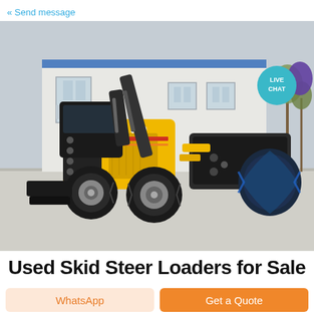« Send message
[Figure (photo): A yellow skid steer loader (model 380) with a road sweeper brush attachment, parked on a concrete surface in front of a white industrial building with a blue roof. Live Chat badge visible in upper right corner.]
Used Skid Steer Loaders for Sale
WhatsApp
Get a Quote